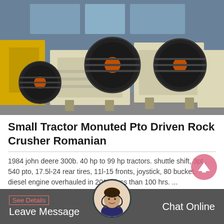[Figure (photo): Industrial jaw crusher machines lined up in a factory/warehouse. Multiple large crushers with black flywheels, yellow and cream/beige colored bodies, arranged in a row on a concrete floor with blue metal building structure in background.]
Small Tractor Monuted Pto Driven Rock Crusher Romanian
1984 john deere 300b. 40 hp to 99 hp tractors. shuttle shift, 3pt., 540 pto, 17.5l-24 rear tires, 11l-15 fronts, joystick, 80 bucket, diesel engine overhauled in 2014, less than 100 hrs. ...
See Details   Leave Message   Chat Online